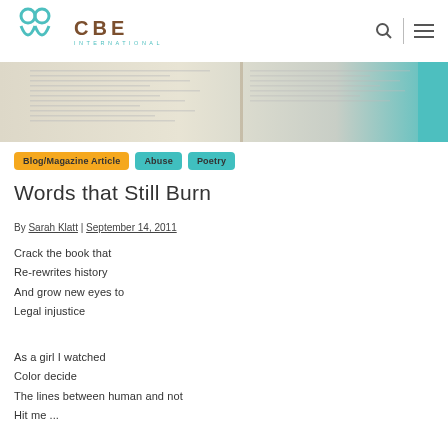CBE International
[Figure (photo): Hero image of an open Bible/book with handwritten notes, teal accent on the right]
Blog/Magazine Article
Abuse
Poetry
Words that Still Burn
By Sarah Klatt | September 14, 2011
Crack the book that
Re-rewrites history
And grow new eyes to
Legal injustice
As a girl I watched
Color decide
The lines between human and not
Hit me ...